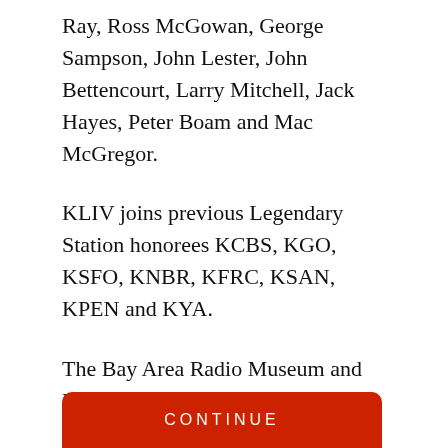Ray, Ross McGowan, George Sampson, John Lester, John Bettencourt, Larry Mitchell, Jack Hayes, Peter Boam and Mac McGregor.
KLIV joins previous Legendary Station honorees KCBS, KGO, KSFO, KNBR, KFRC, KSAN, KPEN and KYA.
The Bay Area Radio Museum and Hall of Fame, founded in 2005, is a program of the California Historical Radio Society (CHRS), and is dedicated to preserving and honoring the history of radio broadcasting in the San Francisco Bay Area.
CONTINUE